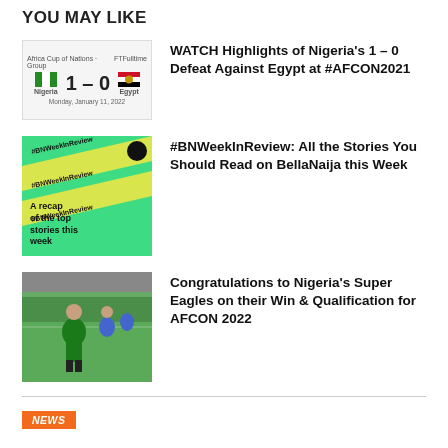YOU MAY LIKE
WATCH Highlights of Nigeria's 1 – 0 Defeat Against Egypt at #AFCON2021
#BNWeekInReview: All the Stories You Should Read on BellaNaija this Week
Congratulations to Nigeria's Super Eagles on their Win & Qualification for AFCON 2022
NEWS
Island BlockParty Presents…